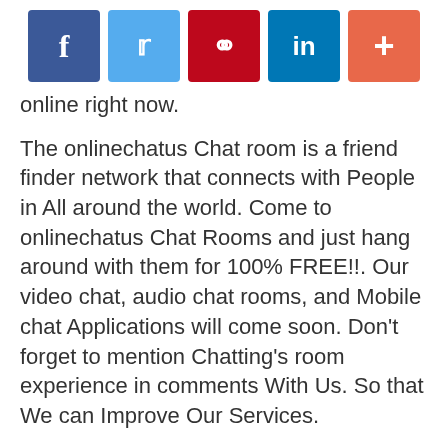[Figure (infographic): Social media sharing buttons: Facebook (blue), Twitter (light blue), Pinterest (dark red), LinkedIn (blue), Plus/More (orange-red)]
online right now.
The onlinechatus Chat room is a friend finder network that connects with People in All around the world. Come to onlinechatus Chat Rooms and just hang around with them for 100% FREE!!. Our video chat, audio chat rooms, and Mobile chat Applications will come soon. Don't forget to mention Chatting's room experience in comments With Us. So that We can Improve Our Services.
Join our Free onlinechatus Chatting Room now and Chatting with  without registration. Online onlinechatus Chatting Room helps you find new